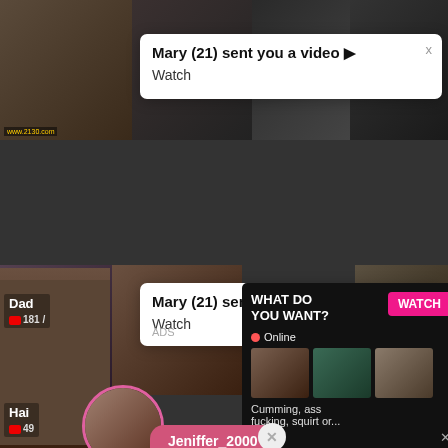[Figure (screenshot): Background grid of video thumbnails from adult video site]
Mary (21) sent you a video ▶ Watch
Mary (21) sent you a video ▶ Watch
Dad
■ 181 /
Jeniffer_2000 (00:12)□
WHAT DO YOU WANT?
WATCH
● Online
Cumming, ass fucking, squirt or...
• ADS
Hai
■ 49
LIVE